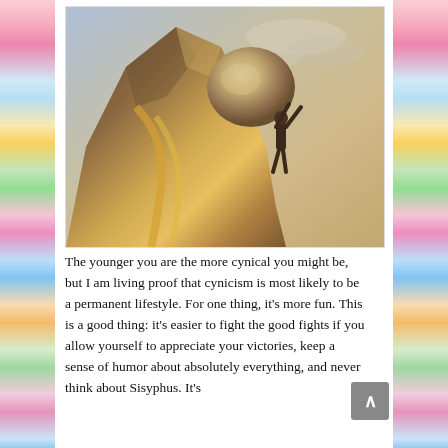[Figure (photo): A dramatic digital artwork or sculpture of Sisyphus pushing a large boulder up a steep rocky mountain, with a cloudy dramatic sky in the background.]
The younger you are the more cynical you might be, but I am living proof that cynicism is most likely to be a permanent lifestyle. For one thing, it's more fun. This is a good thing: it's easier to fight the good fights if you allow yourself to appreciate your victories, keep a sense of humor about absolutely everything, and never think about Sisyphus. It's